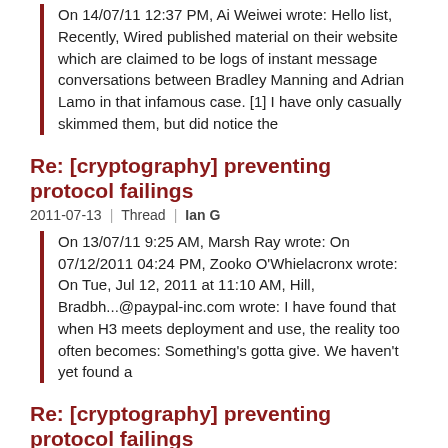On 14/07/11 12:37 PM, Ai Weiwei wrote: Hello list, Recently, Wired published material on their website which are claimed to be logs of instant message conversations between Bradley Manning and Adrian Lamo in that infamous case. [1] I have only casually skimmed them, but did notice the
Re: [cryptography] preventing protocol failings
2011-07-13 | Thread | Ian G
On 13/07/11 9:25 AM, Marsh Ray wrote: On 07/12/2011 04:24 PM, Zooko O'Whielacronx wrote: On Tue, Jul 12, 2011 at 11:10 AM, Hill, Bradbh...@paypal-inc.com wrote: I have found that when H3 meets deployment and use, the reality too often becomes: Something's gotta give. We haven't yet found a
Re: [cryptography] preventing protocol failings
2011-07-13 | Thread | Ian G
On 13/07/11 3:10 AM, Hill, Brad wrote: Re: H3, There is one mode and it is secure I have found that when H3 meets deployment and use, the reality too often becomes: Something's gotta give. We haven't yet found a way to hide enough of the complexity of security to make it free, and this